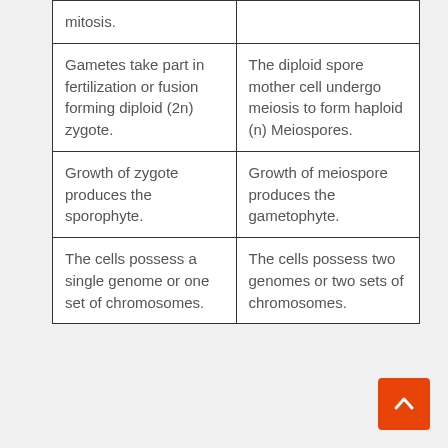| mitosis. |  |
| Gametes take part in fertilization or fusion forming diploid (2n) zygote. | The diploid spore mother cell undergo meiosis to form haploid (n) Meiospores. |
| Growth of zygote produces the sporophyte. | Growth of meiospore produces the gametophyte. |
| The cells possess a single genome or one set of chromosomes. | The cells possess two genomes or two sets of chromosomes. |